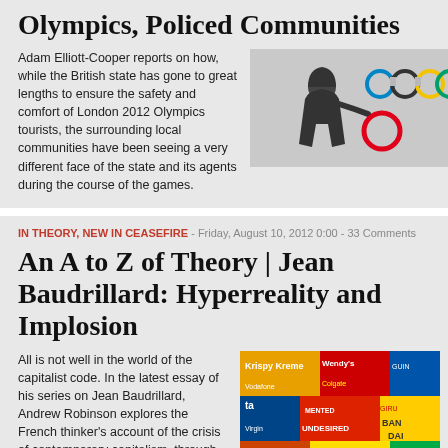Olympics, Policed Communities
Adam Elliott-Cooper reports on how, while the British state has gone to great lengths to ensure the safety and comfort of London 2012 Olympics tourists, the surrounding local communities have been seeing a very different face of the state and its agents during the course of the games.
[Figure (photo): Black and white photo of a hooded figure carrying an Olympic ring in graffiti style street art]
IN THEORY, NEW IN CEASEFIRE - Friday, August 10, 2012 0:00 - 33 Comments
An A to Z of Theory | Jean Baudrillard: Hyperreality and Implosion
All is not well in the world of the capitalist code. In the latest essay of his series on Jean Baudrillard, Andrew Robinson explores the French thinker's account of the crisis of contemporary capitalism, through three related concepts: hyperreality, fascination and implosion.
[Figure (photo): Colorful collage of commercial logos and advertising signs]